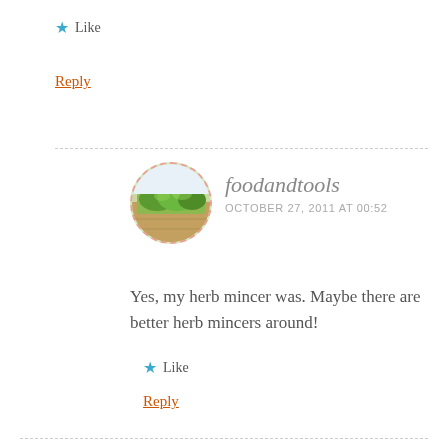★ Like
Reply
foodandtools
OCTOBER 27, 2011 AT 00:52
Yes, my herb mincer was. Maybe there are better herb mincers around!
★ Like
Reply
Comments are much